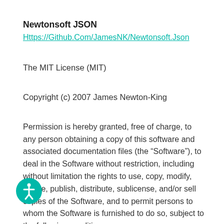Newtonsoft JSON
Https://Github.Com/JamesNK/Newtonsoft.Json
The MIT License (MIT)
Copyright (c) 2007 James Newton-King
Permission is hereby granted, free of charge, to any person obtaining a copy of this software and associated documentation files (the “Software”), to deal in the Software without restriction, including without limitation the rights to use, copy, modify, merge, publish, distribute, sublicense, and/or sell copies of the Software, and to permit persons to whom the Software is furnished to do so, subject to the following conditions: